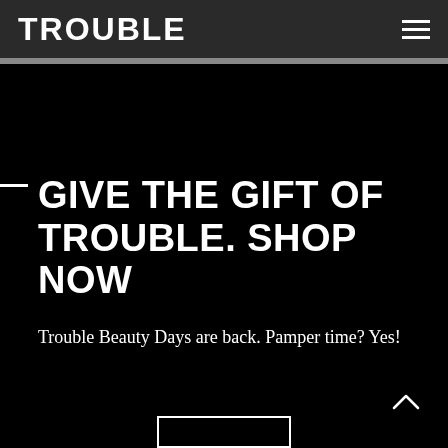TROUBLE
GIVE THE GIFT OF TROUBLE. SHOP NOW
Trouble Beauty Days are back. Pamper time? Yes!